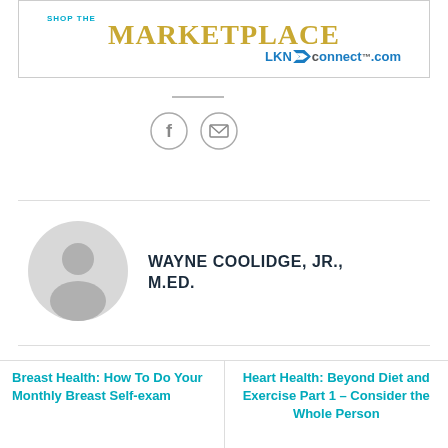[Figure (other): Advertisement banner for SHOP the MARKETPLACE at LKNconnect.com with teal/gold text and logo]
[Figure (other): Social share icons: Facebook circle icon and email/envelope circle icon]
[Figure (other): Gray placeholder avatar circle with silhouette of a person]
WAYNE COOLIDGE, JR., M.ED.
Breast Health: How To Do Your Monthly Breast Self-exam
Heart Health: Beyond Diet and Exercise Part 1 – Consider the Whole Person